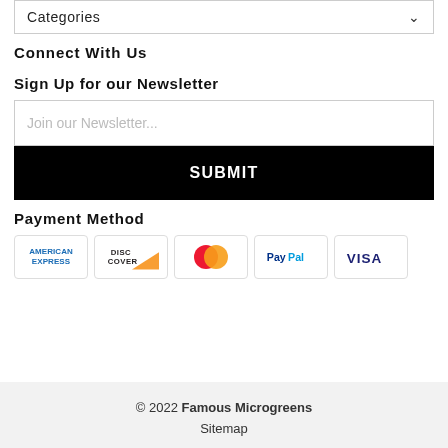Categories
Connect With Us
Sign Up for our Newsletter
Join our Newsletter...
SUBMIT
Payment Method
[Figure (other): Payment method logos: American Express, Discover, Mastercard, PayPal, Visa]
© 2022 Famous Microgreens
Sitemap